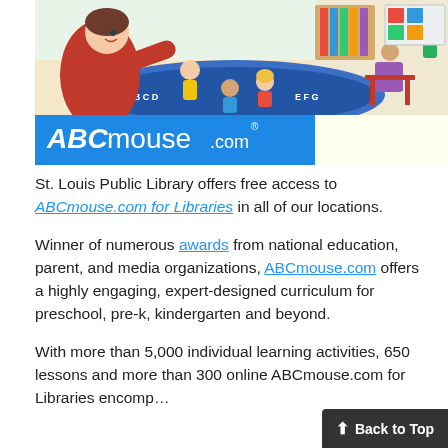[Figure (illustration): ABCmouse.com illustration showing a cartoon female teacher with children in a classroom setting on a colorful rug, with the ABCmouse.com logo displayed on a blue banner below the illustration.]
St. Louis Public Library offers free access to ABCmouse.com for Libraries in all of our locations.
Winner of numerous awards from national education, parent, and media organizations, ABCmouse.com offers a highly engaging, expert-designed curriculum for preschool, pre-k, kindergarten and beyond.
With more than 5,000 individual learning activities, 650 lessons and more than 300 online ABCmouse.com for Libraries encomp...